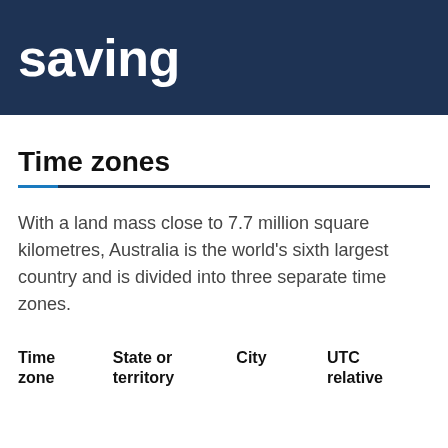saving
Time zones
With a land mass close to 7.7 million square kilometres, Australia is the world's sixth largest country and is divided into three separate time zones.
| Time zone | State or territory | City | UTC relative |
| --- | --- | --- | --- |